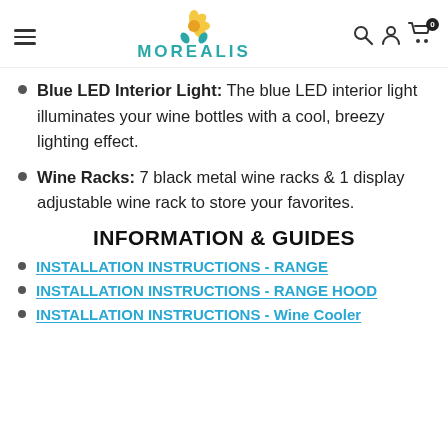MOREALIS (navigation bar with logo, hamburger menu, search, account, and cart icons)
Blue LED Interior Light: The blue LED interior light illuminates your wine bottles with a cool, breezy lighting effect.
Wine Racks: 7 black metal wine racks & 1 display adjustable wine rack to store your favorites.
INFORMATION & GUIDES
INSTALLATION INSTRUCTIONS - RANGE
INSTALLATION INSTRUCTIONS - RANGE HOOD
INSTALLATION INSTRUCTIONS - Wine Cooler